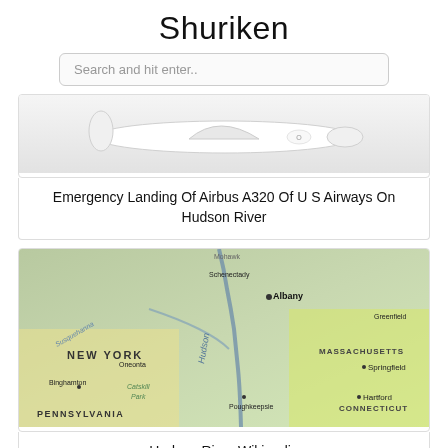Shuriken
Search and hit enter..
[Figure (photo): Photo of an Airbus A320 aircraft, white plane on light gray background]
Emergency Landing Of Airbus A320 Of U S Airways On Hudson River
[Figure (map): Map showing the Hudson River area, including New York, Pennsylvania, Massachusetts, and Connecticut regions, with cities like Albany, Springfield, Hartford, Poughkeepsie, Binghamton labeled]
Hudson River Wikipedia